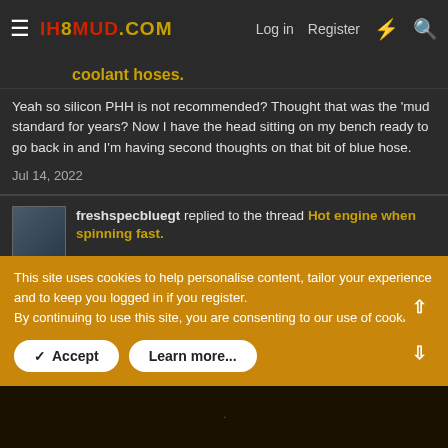IH8MUD.COM — Log in | Register
coolant hoses.
Yeah so silicon PHH is not recommended? Thought that was the 'mud standard for years? Now I have the head sitting on my bench ready to go back in and I'm having second thoughts on that bit of blue hose.
Jul 14, 2022
freshspecbluegt replied to the thread Hot engine when spinning fast.
Also don't underestimate belt tension. There is a belt tension spec in the FSM and a click type belt tension gauge is 15
This site uses cookies to help personalise content, tailor your experience and to keep you logged in if you register.
By continuing to use this site, you are consenting to our use of cookies.